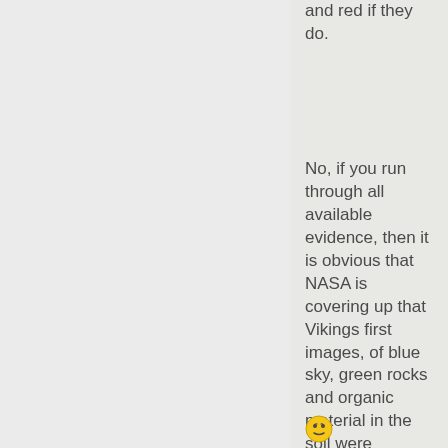and red if they do.
No, if you run through all available evidence, then it is obvious that NASA is covering up that Vikings first images, of blue sky, green rocks and organic material in the soil were genuine, it has been BS ever since.
[Figure (illustration): A yellow smiley face emoji with a slightly skeptical or questioning expression]